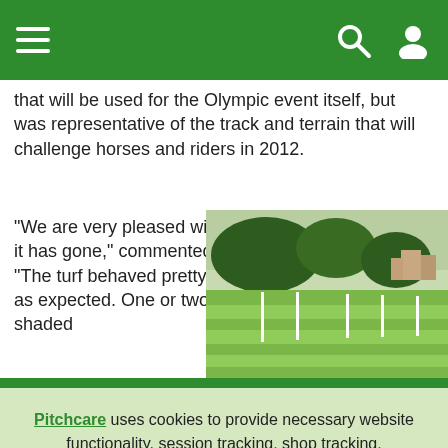Navigation bar with hamburger menu, search icon, and user icon
that will be used for the Olympic event itself, but was representative of the track and terrain that will challenge horses and riders in 2012.
"We are very pleased with how it has gone," commented Lee. "The turf behaved pretty much as expected. One or two shaded
[Figure (photo): Outdoor green field/grass area with white poles/markers, trees in background, buildings visible]
Pitchcare uses cookies to provide necessary website functionality, session tracking, shop tracking, personalisation of ads and to analyze our traffic - Learn more. By using our website, you agree to our Privacy Policy and our cookies usage.
Accept